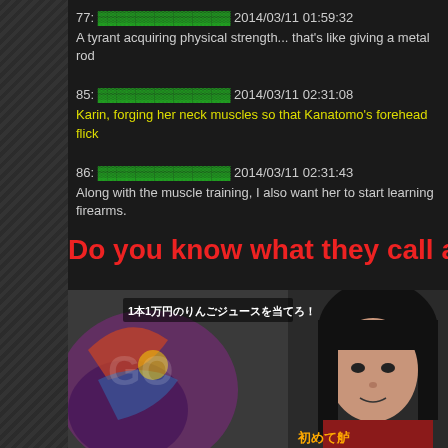77: ▓▓▓▓▓▓▓▓▓▓▓▓▓▓ 2014/03/11 01:59:32
A tyrant acquiring physical strength... that's like giving a metal rod
85: ▓▓▓▓▓▓▓▓▓▓▓▓▓▓ 2014/03/11 02:31:08
Karin, forging her neck muscles so that Kanatomo's forehead flick
86: ▓▓▓▓▓▓▓▓▓▓▓▓▓▓ 2014/03/11 02:31:43
Along with the muscle training, I also want her to start learning firearms.
Do you know what they call a woma
[Figure (screenshot): Screenshot of a Japanese TV show featuring a young woman with straight black hair and bangs, with Japanese text overlay reading 1本1万円のりんごジュースを当てろ！ and 初めて舻 at the bottom]